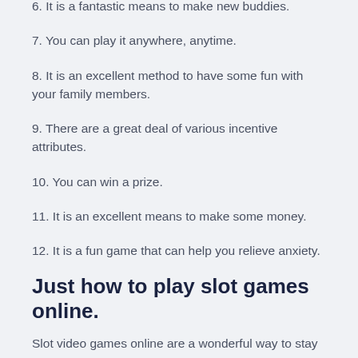6. It is a fantastic means to make new buddies.
7. You can play it anywhere, anytime.
8. It is an excellent method to have some fun with your family members.
9. There are a great deal of various incentive attributes.
10. You can win a prize.
11. It is an excellent means to make some money.
12. It is a fun game that can help you relieve anxiety.
Just how to play slot games online.
Slot video games online are a wonderful way to stay